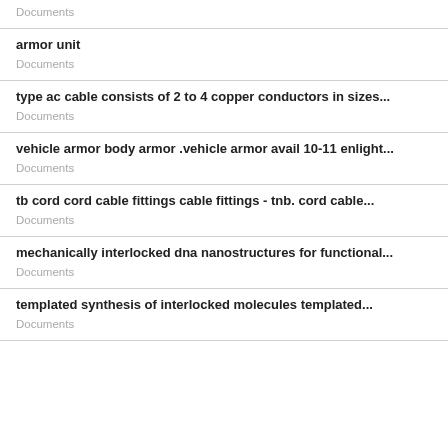Documents
armor unit
Documents
type ac cable consists of 2 to 4 copper conductors in sizes...
Documents
vehicle armor body armor .vehicle armor avail 10-11 enlight...
Documents
tb cord cord cable fittings cable fittings - tnb. cord cable...
Documents
mechanically interlocked dna nanostructures for functional...
Documents
templated synthesis of interlocked molecules templated...
Documents